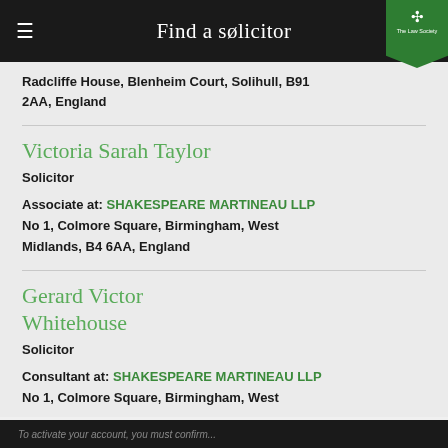Find a solicitor
Radcliffe House, Blenheim Court, Solihull, B91 2AA, England
Victoria Sarah Taylor
Solicitor
Associate at: SHAKESPEARE MARTINEAU LLP
No 1, Colmore Square, Birmingham, West Midlands, B4 6AA, England
Gerard Victor Whitehouse
Solicitor
Consultant at: SHAKESPEARE MARTINEAU LLP
No 1, Colmore Square, Birmingham, West
To activate your account, you must confirm...